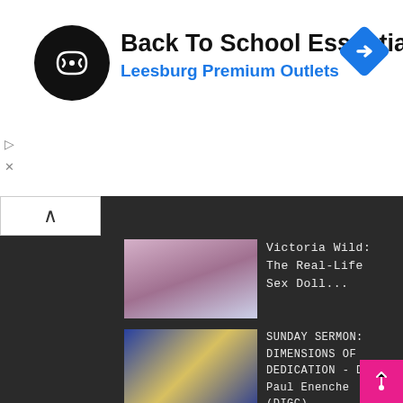[Figure (screenshot): Ad banner with black circular logo, 'Back To School Essentials' title, 'Leesburg Premium Outlets' subtitle in blue, and blue diamond navigation icon]
Back To School Essentials
Leesburg Premium Outlets
[Figure (screenshot): Collapse/chevron-up button]
Victoria Wild: The Real-Life Sex Doll...
SUNDAY SERMON: DIMENSIONS OF DEDICATION - Dr. Paul Enenche (DIGC)
SUNDAY SERMON: THE VIRTUES AND VALUES OF THANKSGIVING By: Dr. Paul Enenche (DIGC)
Erica Mena Tattoos Bow Wow's Name On Her Body